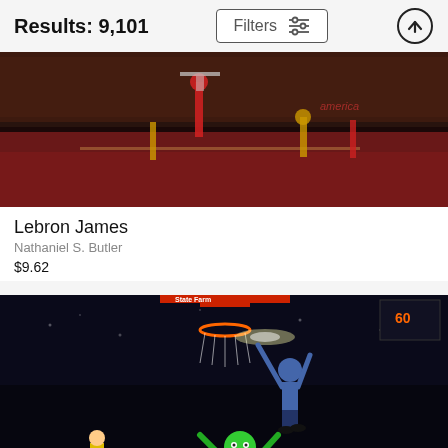Results: 9,101
Filters
[Figure (photo): Basketball game photo showing players on court with a packed arena crowd, one player in red uniform jumping]
Lebron James
Nathaniel S. Butler
$9.62
[Figure (photo): Basketball dunk contest or game photo showing a player dunking over a green mascot in a dark arena]